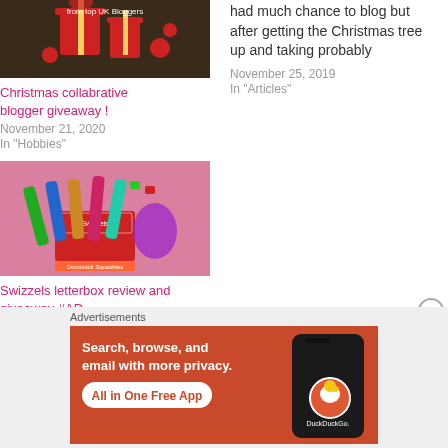[Figure (photo): Gift boxes with ribbon and Christmas decorations with text 'from top UK Bloggers']
Christmas collabrative blogger giveaway !
November 21, 2020
In "Hobbies"
had much chance to blog but after getting the Christmas tree up and taking probably
November 25, 2019
In "Articles"
[Figure (photo): Swizzels letterbox sweets gift box with various candy items on pink background]
Swizzels letterbox review and giveaway #AD
February 9, 2021
In "Articles"
Advertisements
[Figure (screenshot): DuckDuckGo advertisement banner: Search, browse, and email with more privacy. All in One Free App. Shows a phone with DuckDuckGo logo.]